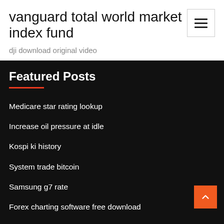vanguard total world market index fund
dji download original video
Featured Posts
Medicare star rating lookup
Increase oil pressure at idle
Kospi ki history
System trade bitcoin
Samsung g7 rate
Forex charting software free download
What are the advantages and disadvantages of trade cre